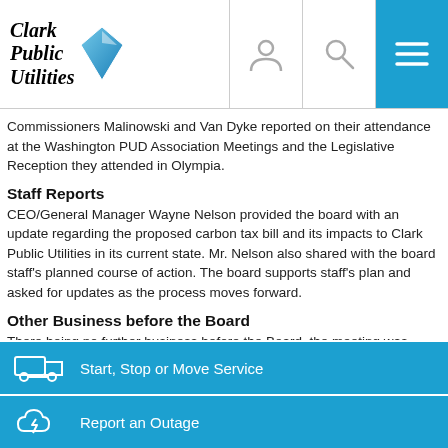Clark Public Utilities
Commissioners Malinowski and Van Dyke reported on their attendance at the Washington PUD Association Meetings and the Legislative Reception they attended in Olympia.
Staff Reports
CEO/General Manager Wayne Nelson provided the board with an update regarding the proposed carbon tax bill and its impacts to Clark Public Utilities in its current state. Mr. Nelson also shared with the board staff's planned course of action. The board supports staff's plan and asked for updates as the process moves forward.
Other Business before the Board
There being no further business before the Board, the meeting was adjourned at 9:56 am.
Start, Stop or Move Service
Report an Outage